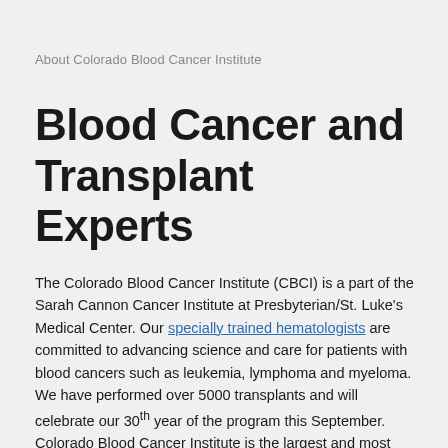About Colorado Blood Cancer Institute
Blood Cancer and Transplant Experts
The Colorado Blood Cancer Institute (CBCI) is a part of the Sarah Cannon Cancer Institute at Presbyterian/St. Luke's Medical Center. Our specially trained hematologists are committed to advancing science and care for patients with blood cancers such as leukemia, lymphoma and myeloma. We have performed over 5000 transplants and will celebrate our 30th year of the program this September. Colorado Blood Cancer Institute is the largest and most experienced full-service blood and marrow transplant program in Colorado, and we are the